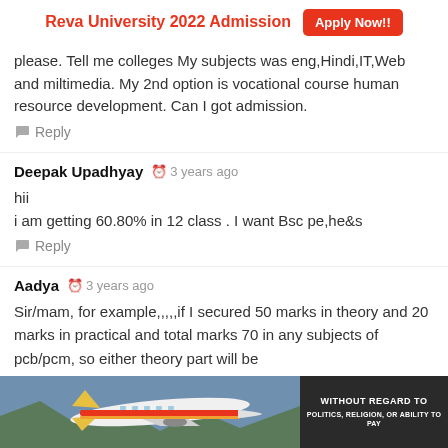[Figure (other): Reva University 2022 Admission advertisement banner with orange Apply Now!! button]
please. Tell me colleges My subjects was eng,Hindi,IT,Web and miltimedia. My 2nd option is vocational course human resource development. Can I got admission.
Reply
Deepak Upadhyay  3 years ago
hii
i am getting 60.80% in 12 class . I want Bsc pe,he&s
Reply
Aadya  3 years ago
Sir/mam, for example,,,,,if I secured 50 marks in theory and 20 marks in practical and total marks 70 in any subjects of pcb/pcm, so either theory part will be
added to best of four calculations or total marks of pcb/pcm
[Figure (photo): Bottom advertisement banner showing cargo airplane with colorful livery and dark panel with text WITHOUT REGARD TO POLITICS, RELIGION, OR ABILITY TO PAY]